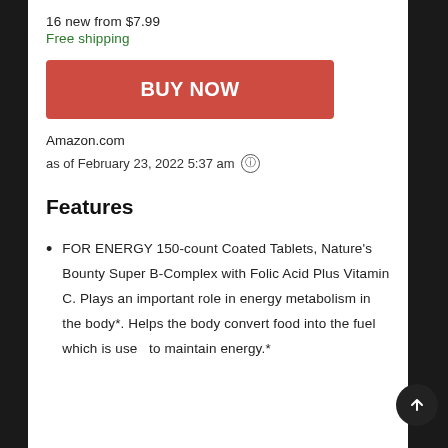16 new from $7.99
Free shipping
BUY NOW
Amazon.com
as of February 23, 2022 5:37 am ⓘ
Features
FOR ENERGY 150-count Coated Tablets, Nature's Bounty Super B-Complex with Folic Acid Plus Vitamin C. Plays an important role in energy metabolism in the body*. Helps the body convert food into the fuel which is used to maintain energy.*